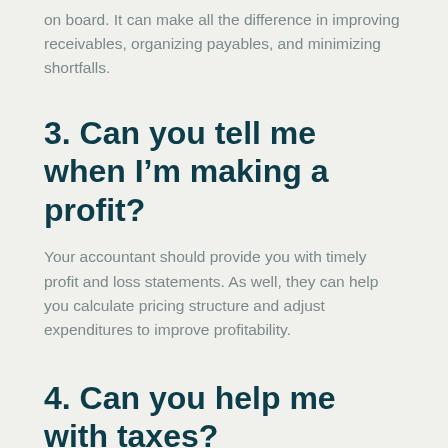on board. It can make all the difference in improving receivables, organizing payables, and minimizing shortfalls.
3. Can you tell me when I’m making a profit?
Your accountant should provide you with timely profit and loss statements. As well, they can help you calculate pricing structure and adjust expenditures to improve profitability.
4. Can you help me with taxes?
Getting rid of tax paperwork is one of the most